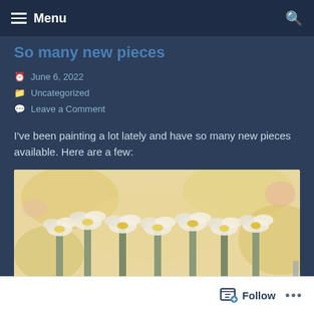Menu
So many new pieces
June 6, 2022
Uncategorized
Leave a Comment
I've been painting a lot lately and have so many new pieces available. Here are a few:
[Figure (photo): A painting of white flowers with yellow centers on a warm yellow and beige textured background, painted in an impressionistic style.]
Follow